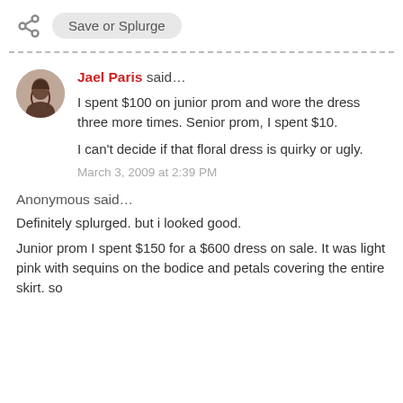Save or Splurge
Jael Paris said…

I spent $100 on junior prom and wore the dress three more times. Senior prom, I spent $10.

I can't decide if that floral dress is quirky or ugly.

March 3, 2009 at 2:39 PM
Anonymous said…

Definitely splurged. but i looked good.

Junior prom I spent $150 for a $600 dress on sale. It was light pink with sequins on the bodice and petals covering the entire skirt. so